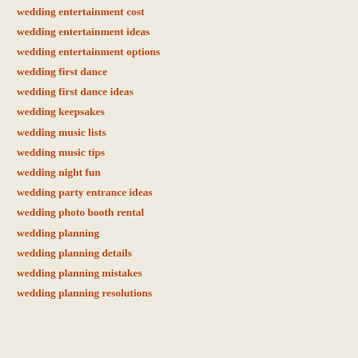wedding entertainment cost
wedding entertainment ideas
wedding entertainment options
wedding first dance
wedding first dance ideas
wedding keepsakes
wedding music lists
wedding music tips
wedding night fun
wedding party entrance ideas
wedding photo booth rental
wedding planning
wedding planning details
wedding planning mistakes
wedding planning resolutions